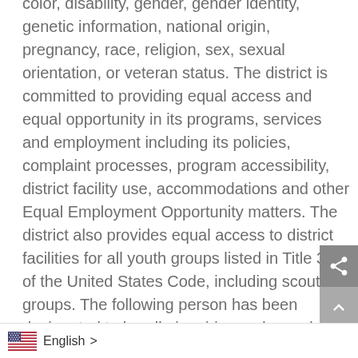color, disability, gender, gender identity, genetic information, national origin, pregnancy, race, religion, sex, sexual orientation, or veteran status. The district is committed to providing equal access and equal opportunity in its programs, services and employment including its policies, complaint processes, program accessibility, district facility use, accommodations and other Equal Employment Opportunity matters. The district also provides equal access to district facilities for all youth groups listed in Title 36 of the United States Code, including scouting groups. The following person has been designated to handle inquiries and complaints ... awful discrimination, harassment,
English >